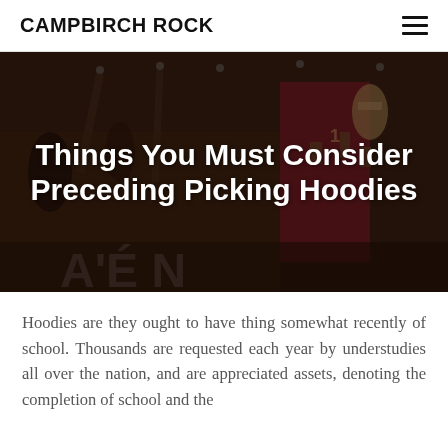CAMPBIRCH ROCK
[Figure (photo): Dark museum interior with hanging sculptures and artifacts, with a pink/red display panel visible in the background]
Things You Must Consider Preceding Picking Hoodies
Hoodies are they ought to have thing somewhat recently of school. Thousands are requested each year by understudies all over the nation, and are appreciated assets, denoting the completion of school and the